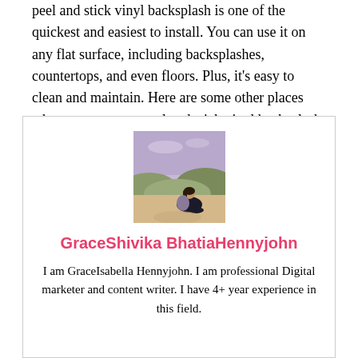peel and stick vinyl backsplash is one of the quickest and easiest to install. You can use it on any flat surface, including backsplashes, countertops, and even floors. Plus, it's easy to clean and maintain. Here are some other places where you can use peel and stick vinyl backsplash
[Figure (photo): A person sitting on a rocky outdoor landscape with hills and a purple-hued sky in the background.]
GraceShivika BhatiaHennyjohn
I am GraceIsabella Hennyjohn. I am professional Digital marketer and content writer. I have 4+ year experience in this field.